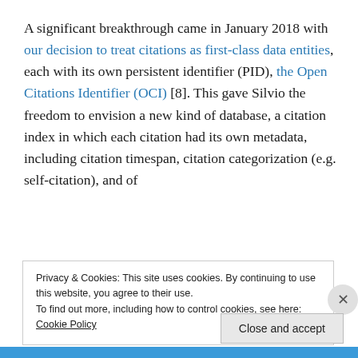A significant breakthrough came in January 2018 with our decision to treat citations as first-class data entities, each with its own persistent identifier (PID), the Open Citations Identifier (OCI) [8]. This gave Silvio the freedom to envision a new kind of database, a citation index in which each citation had its own metadata, including citation timespan, citation categorization (e.g. self-citation), and of
Privacy & Cookies: This site uses cookies. By continuing to use this website, you agree to their use.
To find out more, including how to control cookies, see here: Cookie Policy